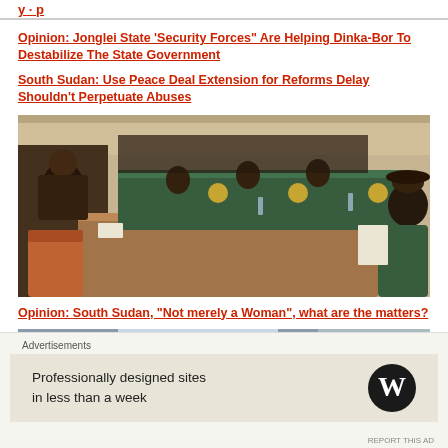Opinion: Jonglei State 'Security Forces" Are Helping Dinka-Bor To Destabilize The State Government
South Sudan: Use Peace Deal Extension for Reforms Delay Shouldn't Perpetuate Abuses
[Figure (photo): A formal meeting room in South Sudan with officials seated at green-topped wooden conference tables. People in suits are visible, and a figure with a black hat is seated at the right reading documents.]
Opinion: South Sudan, “Not merely a Woman”, what are the matters?
[Figure (photo): Partial view of a cityscape with rooftops and sky, partially cut off at the bottom of the page. A close/dismiss button (X) is visible at the right edge.]
Advertisements
Professionally designed sites in less than a week
[Figure (logo): WordPress logo - white W on black circle background]